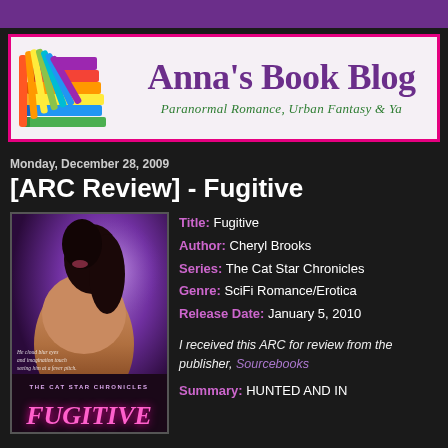[Figure (illustration): Anna's Book Blog banner with colorful stacked books on left, purple blog title text, and green subtitle 'Paranormal Romance, Urban Fantasy & YA']
Monday, December 28, 2009
[ARC Review] - Fugitive
[Figure (illustration): Book cover for Fugitive by Cheryl Brooks - The Cat Star Chronicles. Shows a figure with dark hair against purple/mystical background. Pink text 'FUGITIVE' at bottom.]
Title: Fugitive
Author: Cheryl Brooks
Series: The Cat Star Chronicles
Genre: SciFi Romance/Erotica
Release Date: January 5, 2010
I received this ARC for review from the publisher, Sourcebooks
Summary: HUNTED AND IN